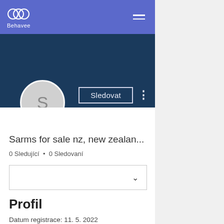Behavee
[Figure (screenshot): User profile page on Behavee platform showing avatar with letter S, username 'Sarms for sale nz, new zealan...', 0 Sledující, 0 Sledovaní, Sledovat button, Profil section with Datum registrace: 11. 5. 2022]
Sarms for sale nz, new zealan...
0 Sledující • 0 Sledovaní
Profil
Datum registrace: 11. 5. 2022